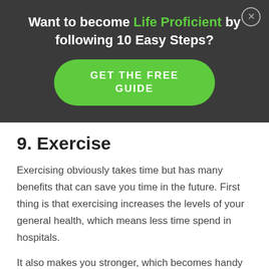Want to become Life Proficient by following 10 Easy Steps?
GET THE FREE GUIDE
9. Exercise
Exercising obviously takes time but has many benefits that can save you time in the future. First thing is that exercising increases the levels of your general health, which means less time spend in hospitals.
It also makes you stronger, which becomes handy in everyday life (lifting and carrying things easily)